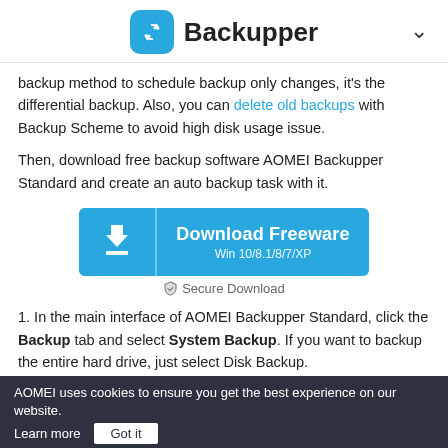Backupper
backup method to schedule backup only changes, it's the differential backup. Also, you can delete old backups with Backup Scheme to avoid high disk usage issue.
Then, download free backup software AOMEI Backupper Standard and create an auto backup task with it.
[Figure (other): Download Freeware button for AOMEI Backupper, Win 10/8.1/8/7/XP with Secure Download label]
1. In the main interface of AOMEI Backupper Standard, click the Backup tab and select System Backup. If you want to backup the entire hard drive, just select Disk Backup.
AOMEI uses cookies to ensure you get the best experience on our website. Learn more  Got it